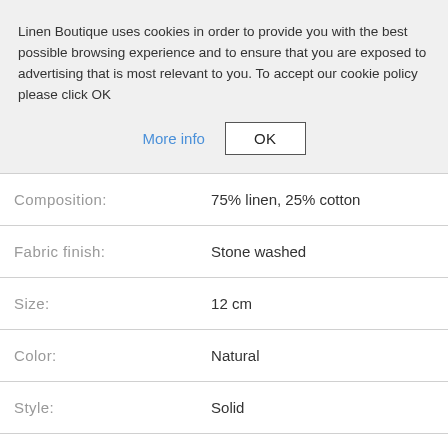Linen Boutique uses cookies in order to provide you with the best possible browsing experience and to ensure that you are exposed to advertising that is most relevant to you. To accept our cookie policy please click OK
More info | OK
| Label | Value |
| --- | --- |
| Composition: | 75% linen, 25% cotton |
| Fabric finish: | Stone washed |
| Size: | 12 cm |
| Color: | Natural |
| Style: | Solid |
| Origin: | Made in Lithuania |